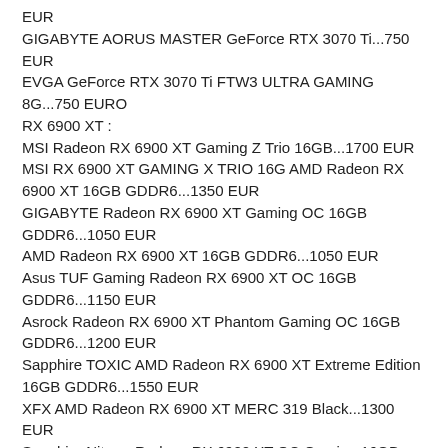EUR
GIGABYTE AORUS MASTER GeForce RTX 3070 Ti...750 EUR
EVGA GeForce RTX 3070 Ti FTW3 ULTRA GAMING 8G...750 EURO
RX 6900 XT :
MSI Radeon RX 6900 XT Gaming Z Trio 16GB...1700 EUR
MSI RX 6900 XT GAMING X TRIO 16G AMD Radeon RX 6900 XT 16GB GDDR6...1350 EUR
GIGABYTE Radeon RX 6900 XT Gaming OC 16GB GDDR6...1050 EUR
AMD Radeon RX 6900 XT 16GB GDDR6...1050 EUR
Asus TUF Gaming Radeon RX 6900 XT OC 16GB GDDR6...1150 EUR
Asrock Radeon RX 6900 XT Phantom Gaming OC 16GB GDDR6...1200 EUR
Sapphire TOXIC AMD Radeon RX 6900 XT Extreme Edition 16GB GDDR6...1550 EUR
XFX AMD Radeon RX 6900 XT MERC 319 Black...1300 EUR
Sapphire Nitro + Radeon RX 6900 XT OC Gaming 16GB GDDR6...1300 EUR
Sapphire Radeon RX6900 XT OC SE Gaming Nitro + 16GB...1300